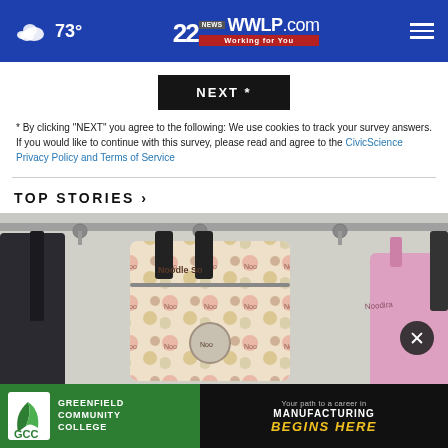73° | 22WWLP.com News | Working for You
NEXT *
* By clicking "NEXT" you agree to the following: We use cookies to track your survey answers. If you would like to continue with this survey, please read and agree to the CivicScience Privacy Policy and Terms of Service
TOP STORIES ›
[Figure (photo): Photo showing backpacks hanging on hooks, with a close-up of colorful bags in what appears to be a school or locker area setting.]
[Figure (advertisement): Greenfield Community College advertisement banner: GCC logo on green background with text 'GREENFIELD COMMUNITY COLLEGE', alongside a dark panel reading 'Your path to a career in MANUFACTURING BEGINS HERE']